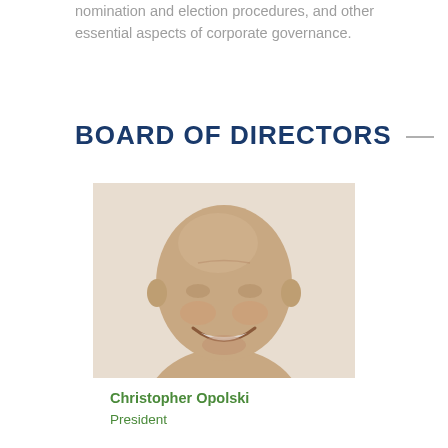nomination and election procedures, and other essential aspects of corporate governance.
BOARD OF DIRECTORS
[Figure (photo): Headshot photo of Christopher Opolski, a bald smiling man, against a light beige background]
Christopher Opolski
President